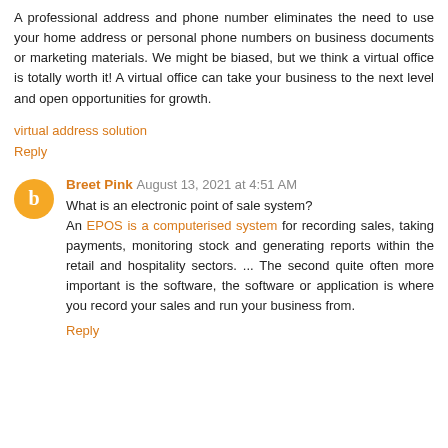A professional address and phone number eliminates the need to use your home address or personal phone numbers on business documents or marketing materials. We might be biased, but we think a virtual office is totally worth it! A virtual office can take your business to the next level and open opportunities for growth.
virtual address solution
Reply
Breet Pink August 13, 2021 at 4:51 AM
What is an electronic point of sale system? An EPOS is a computerised system for recording sales, taking payments, monitoring stock and generating reports within the retail and hospitality sectors. ... The second quite often more important is the software, the software or application is where you record your sales and run your business from.
Reply